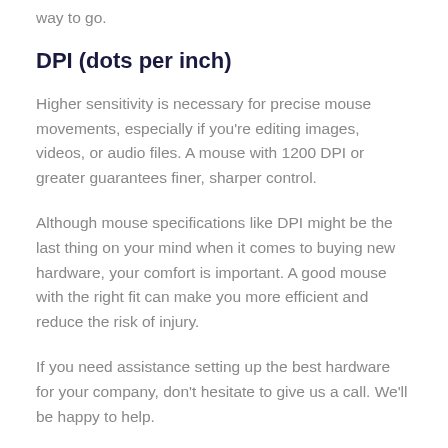way to go.
DPI (dots per inch)
Higher sensitivity is necessary for precise mouse movements, especially if you're editing images, videos, or audio files. A mouse with 1200 DPI or greater guarantees finer, sharper control.
Although mouse specifications like DPI might be the last thing on your mind when it comes to buying new hardware, your comfort is important. A good mouse with the right fit can make you more efficient and reduce the risk of injury.
If you need assistance setting up the best hardware for your company, don't hesitate to give us a call. We'll be happy to help.
Published with permission from TechAdvisory.org. Source